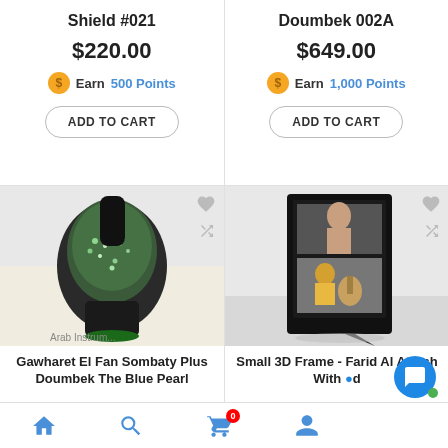Shield #021
$220.00
Earn 500 Points
ADD TO CART
Doumbek 002A
$649.00
Earn 1,000 Points
ADD TO CART
[Figure (photo): Gawharet El Fan Sombaty Plus Doumbek The Blue Pearl - decorated doumbek drum with gemstones]
Gawharet El Fan Sombaty Plus Doumbek The Blue Pearl
[Figure (photo): Small 3D Frame - Farid Al Atrash with Oud - a black shadow box frame with photos of Farid Al Atrash]
Small 3D Frame - Farid Al Atrash With Oud